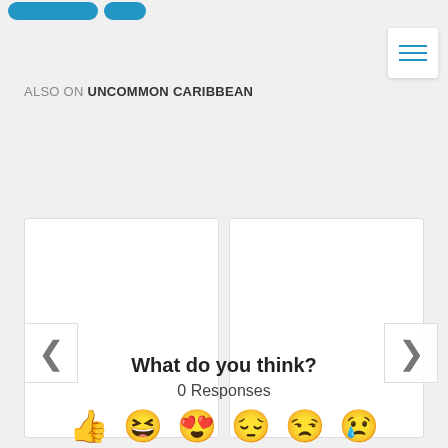[Figure (screenshot): Two blue rounded-rectangle buttons partially visible at top]
[Figure (screenshot): Hamburger menu icon (three teal lines) in white rounded box at top right]
ALSO ON UNCOMMON CARIBBEAN
[Figure (screenshot): Two white card placeholders side by side with left chevron and right chevron navigation arrows]
What do you think?
0 Responses
[Figure (illustration): Row of six emoji reactions: thumbs up, laughing face, heart-eyes face, pensive face, unamused face, crying face]